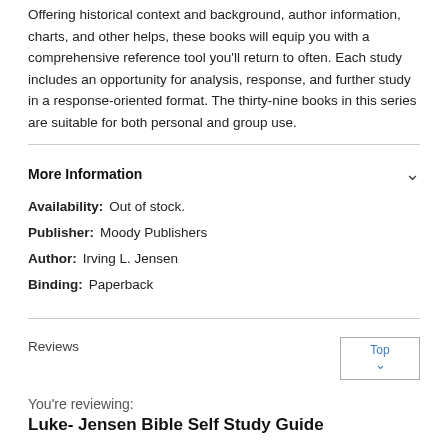Offering historical context and background, author information, charts, and other helps, these books will equip you with a comprehensive reference tool you'll return to often. Each study includes an opportunity for analysis, response, and further study in a response-oriented format. The thirty-nine books in this series are suitable for both personal and group use.
More Information
Availability: Out of stock.
Publisher: Moody Publishers
Author: Irving L. Jensen
Binding: Paperback
Reviews
You're reviewing:
Luke- Jensen Bible Self Study Guide